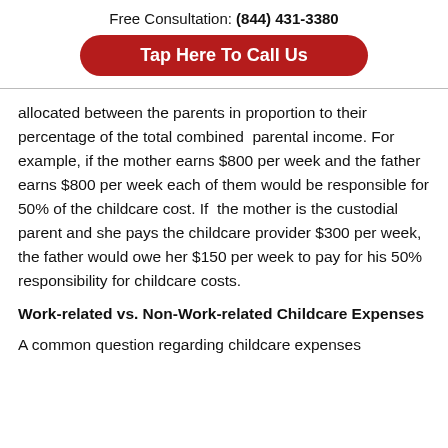Free Consultation: (844) 431-3380
[Figure (other): Red rounded button with white bold text reading 'Tap Here To Call Us']
allocated between the parents in proportion to their percentage of the total combined parental income. For example, if the mother earns $800 per week and the father earns $800 per week each of them would be responsible for 50% of the childcare cost. If the mother is the custodial parent and she pays the childcare provider $300 per week, the father would owe her $150 per week to pay for his 50% responsibility for childcare costs.
Work-related vs. Non-Work-related Childcare Expenses
A common question regarding childcare expenses